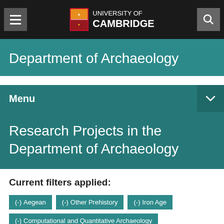[Figure (logo): University of Cambridge logo with shield crest and text 'UNIVERSITY OF CAMBRIDGE' in white on black navigation bar]
Department of Archaeology
Menu
Research Projects in the Department of Archaeology
Current filters applied:
(-) Aegean
(-) Other Prehistory
(-) Iron Age
(-) Computational and Quantitative Archaeology
(-) Egyptology and Egyptian Language
(-) Egyptology